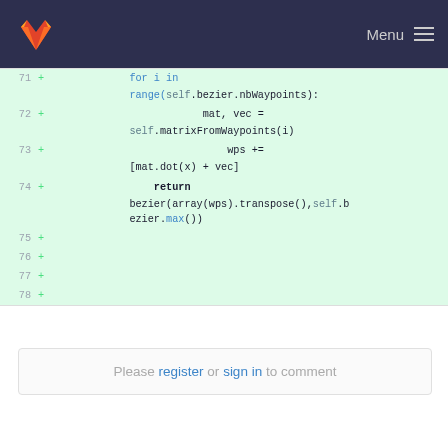GitLab — Menu
[Figure (screenshot): Code diff view showing Python code lines 71-78 with green added lines. Line 71: 'for i in range(self.bezier.nbWaypoints):'. Line 72: 'mat, vec = self.matrixFromWaypoints(i)'. Line 73: 'wps += [mat.dot(x) + vec]'. Line 74: 'return bezier(array(wps).transpose(),self.bezier.max())'. Lines 75-78 are blank added lines.]
Please register or sign in to comment